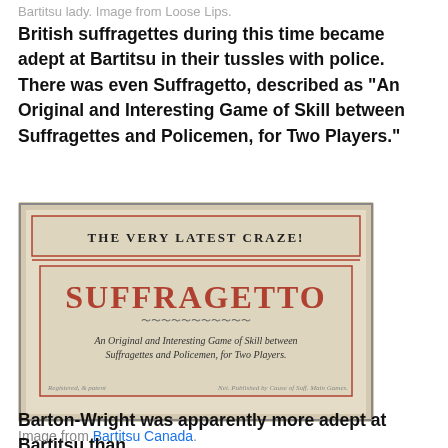Bartitsu lady. Image from Loose Lips.
British suffragettes during this time became adept at Bartitsu in their tussles with police. There was even Suffragetto, described as “An Original and Interesting Game of Skill between Suffragettes and Policemen, for Two Players.”
[Figure (photo): A vintage game box cover for 'SUFFRAGETTO' with text reading 'THE VERY LATEST CRAZE!' at top, 'SUFFRAGETTO' in large red letters, and 'An Original and Interesting Game of Skill between Suffragettes and Policemen, for Two Players.' in italic text below. The box appears aged and cream/beige colored with red border elements.]
Image from Bartitsu Canada.
Barton-Wright was apparently more adept at Bartitsu than